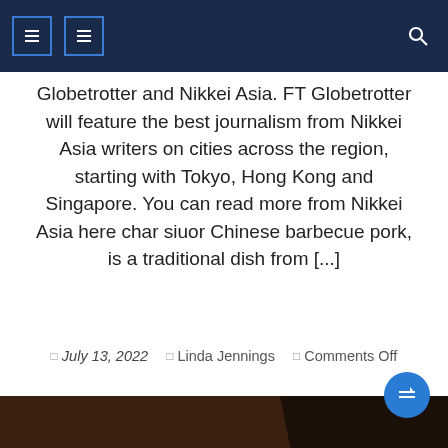Navigation bar with icons
Globetrotter and Nikkei Asia. FT Globetrotter will feature the best journalism from Nikkei Asia writers on cities across the region, starting with Tokyo, Hong Kong and Singapore. You can read more from Nikkei Asia here char siuor Chinese barbecue pork, is a traditional dish from [...]
July 13, 2022  Linda Jennings  Comments Off
[Figure (photo): Close-up photo of char siu (Chinese BBQ pork) with sesame seeds in a dark pan, shot from above at an angle]